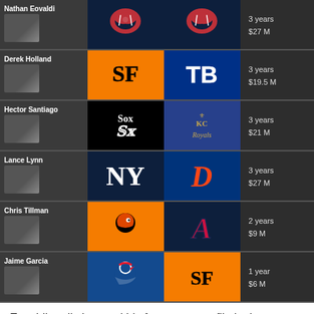[Figure (table-as-image): MLB free agent pitcher predictions table showing player name, previous team logo, predicted new team logo, and contract details for 6 players: Nathan Eovaldi (Red Sox to Red Sox, 3yr/$27M), Derek Holland (Giants to Rays, 3yr/$19.5M), Hector Santiago (White Sox to Royals, 3yr/$21M), Lance Lynn (Yankees to Tigers, 3yr/$27M), Chris Tillman (Orioles to Braves, 2yr/$9M), Jaime Garcia (Blue Jays to Giants, 1yr/$6M)]
Eovaldi really boosted his free agent profile in the playoffs.  But I think the Red Sox will be willing to offer him a long term contract after his playoff performance.  The Rays will add Derek Holland as another option for the rotation.  Holland, Tyler Glasnow, and Brent